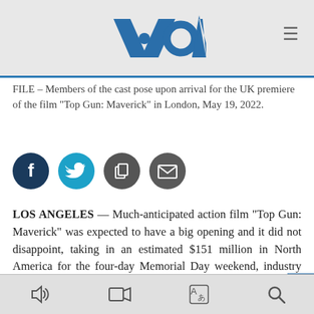VOA
FILE - Members of the cast pose upon arrival for the UK premiere of the film "Top Gun: Maverick" in London, May 19, 2022.
[Figure (infographic): Social media sharing icons: Facebook (dark blue circle), Twitter (light blue circle), Copy (dark gray circle), Email (dark gray circle)]
LOS ANGELES — Much-anticipated action film "Top Gun: Maverick" was expected to have a big opening and it did not disappoint, taking in an estimated $151 million in North America for the four-day Memorial Day weekend, industry watcher Exhibitor Relations reported.
[Figure (infographic): Advertisement banner: blue arrow button, VOA logo with leaf, text NEW SERIES]
Bottom toolbar with audio, video, translation, and search icons